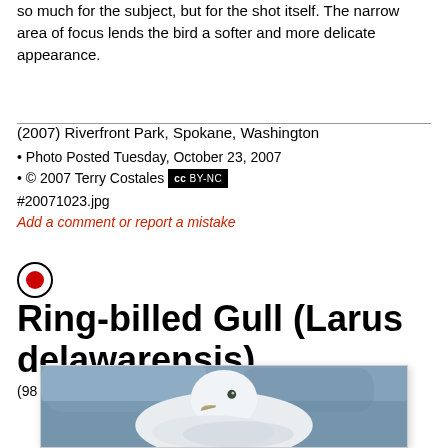so much for the subject, but for the shot itself. The narrow area of focus lends the bird a softer and more delicate appearance.
(2007) Riverfront Park, Spokane, Washington
• Photo Posted Tuesday, October 23, 2007
• © 2007 Terry Costales [CC BY-NC]
#20071023.jpg
Add a comment or report a mistake
Ring-billed Gull (Larus delawarensis)
(98 of 126) (316319 views)
[Figure (photo): A Ring-billed Gull (Larus delawarensis) photographed at Riverfront Park, Spokane, Washington. Close-up portrait of a white gull with soft blue/grey blurred background, showing the bird's head, eye, and beak in soft focus.]